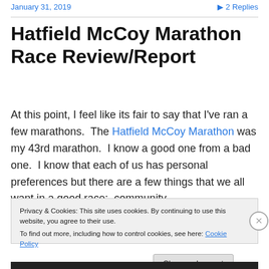January 31, 2019   ▶ 2 Replies
Hatfield McCoy Marathon Race Review/Report
At this point, I feel like its fair to say that I've ran a few marathons.  The Hatfield McCoy Marathon was my 43rd marathon.  I know a good one from a bad one.  I know that each of us has personal preferences but there are a few things that we all want in a good race:  community
Privacy & Cookies: This site uses cookies. By continuing to use this website, you agree to their use.
To find out more, including how to control cookies, see here: Cookie Policy
Close and accept